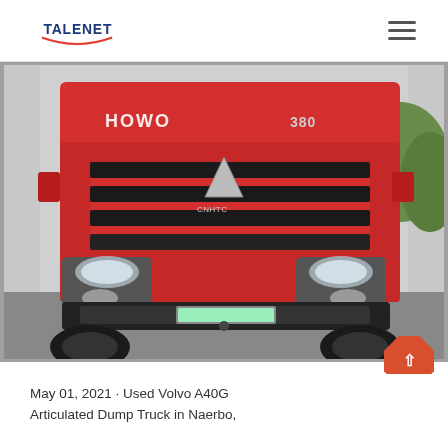TALENET (logo)
[Figure (photo): Front view of a red HOWO 380 dump truck / articulated truck, showing the grille, headlights, CNHTC badge, and bumper]
May 01, 2021 · Used Volvo A40G Articulated Dump Truck in Naerbo,